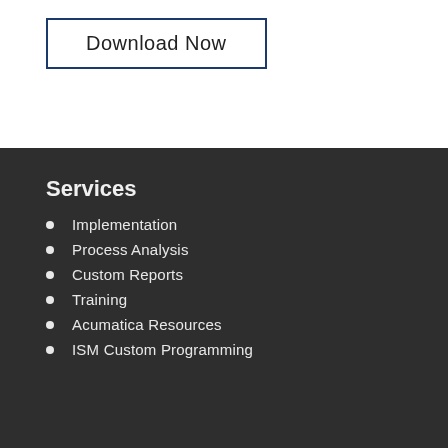Download Now
Services
Implementation
Process Analysis
Custom Reports
Training
Acumatica Resources
ISM Custom Programming